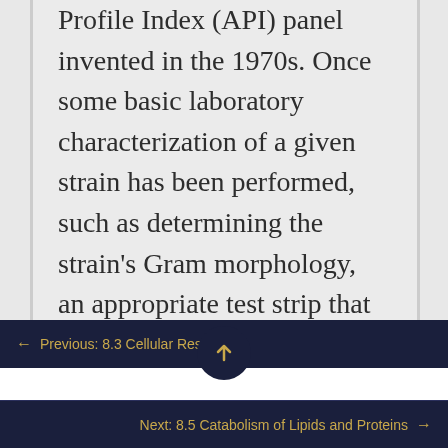Profile Index (API) panel invented in the 1970s. Once some basic laboratory characterization of a given strain has been performed, such as determining the strain's Gram morphology, an appropriate test strip that contains
← Previous: 8.3 Cellular Respiration
Next: 8.5 Catabolism of Lipids and Proteins →